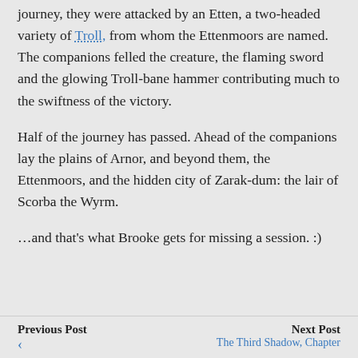journey, they were attacked by an Etten, a two-headed variety of Troll, from whom the Ettenmoors are named. The companions felled the creature, the flaming sword and the glowing Troll-bane hammer contributing much to the swiftness of the victory.
Half of the journey has passed. Ahead of the companions lay the plains of Arnor, and beyond them, the Ettenmoors, and the hidden city of Zarak-dum: the lair of Scorba the Wyrm.
...and that’s what Brooke gets for missing a session. :)
Previous Post | Next Post | The Third Shadow, Chapter